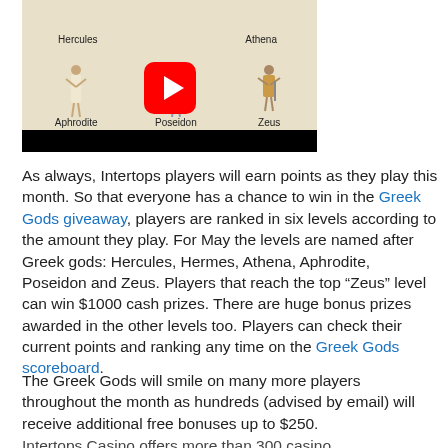[Figure (screenshot): Video thumbnail showing Greek gods Hercules, Athena, Aphrodite, Poseidon, Zeus with a YouTube play button overlay and a black progress bar at the bottom.]
As always, Intertops players will earn points as they play this month. So that everyone has a chance to win in the Greek Gods giveaway, players are ranked in six levels according to the amount they play. For May the levels are named after Greek gods: Hercules, Hermes, Athena, Aphrodite, Poseidon and Zeus. Players that reach the top “Zeus” level can win $1000 cash prizes. There are huge bonus prizes awarded in the other levels too. Players can check their current points and ranking any time on the Greek Gods scoreboard.
The Greek Gods will smile on many more players throughout the month as hundreds (advised by email) will receive additional free bonuses up to $250.
Intertops Casino offers more than 300 casino...